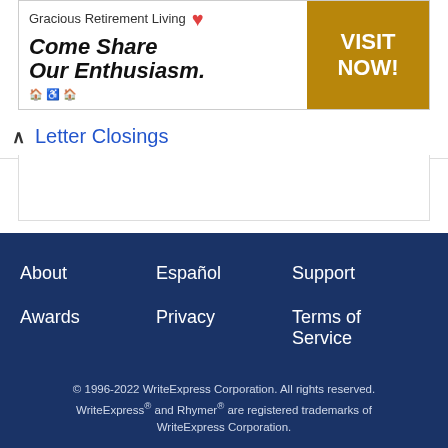[Figure (illustration): Advertisement banner for Gracious Retirement Living with tagline 'Come Share Our Enthusiasm.' and a 'VISIT NOW!' call-to-action button in gold/tan color. Features a red heart logo, accessibility icons, and the brand name.]
Letter Closings
About
Español
Support
Awards
Privacy
Terms of Service
Contact
Shop
Tips
© 1996-2022 WriteExpress Corporation. All rights reserved. WriteExpress® and Rhymer® are registered trademarks of WriteExpress Corporation.